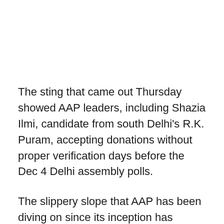The sting that came out Thursday showed AAP leaders, including Shazia Ilmi, candidate from south Delhi's R.K. Puram, accepting donations without proper verification days before the Dec 4 Delhi assembly polls.
The slippery slope that AAP has been diving on since its inception has become even steeper. Barely a few days ago before AAP was stung by